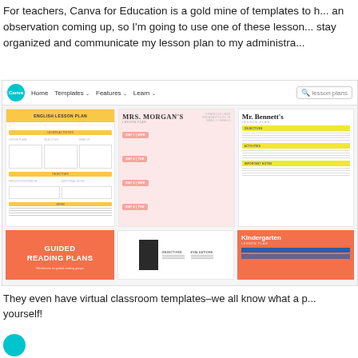For teachers, Canva for Education is a gold mine of templates to h... an observation coming up, so I'm going to use one of these lesson... stay organized and communicate my lesson plan to my administra...
[Figure (screenshot): Screenshot of Canva website showing lesson plan templates including English Lesson Plan, Mrs. Morgan's Lesson Plan, Mr. Bennett's Lesson Plan, Guided Reading Plans, and Kindergarten Lesson Plan templates]
They even have virtual classroom templates–we all know what a p... yourself!